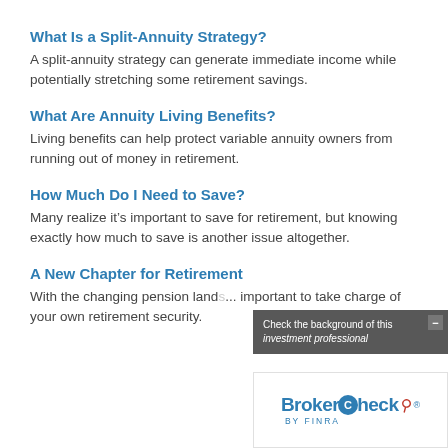What Is a Split-Annuity Strategy?
A split-annuity strategy can generate immediate income while potentially stretching some retirement savings.
What Are Annuity Living Benefits?
Living benefits can help protect variable annuity owners from running out of money in retirement.
How Much Do I Need to Save?
Many realize it’s important to save for retirement, but knowing exactly how much to save is another issue altogether.
A New Chapter for Retirement
With the changing pension land... important to take charge of your own retirement security.
[Figure (other): BrokerCheck by FINRA overlay widget with text: Check the background of this investment professional]